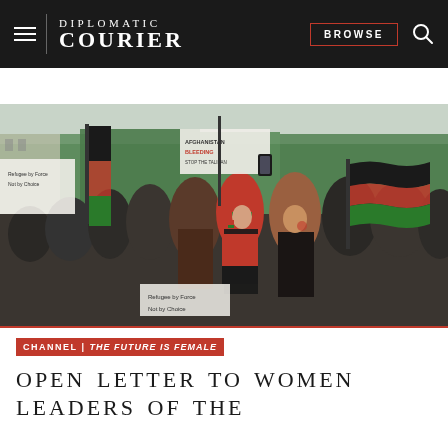DIPLOMATIC COURIER | BROWSE
[Figure (photo): Protest scene with women holding Afghan flags and signs reading 'Afghanistan is Bleeding Stop the Taliban' and 'Refugee by Force Not by Choice']
CHANNEL | THE FUTURE IS FEMALE
OPEN LETTER TO WOMEN LEADERS OF THE